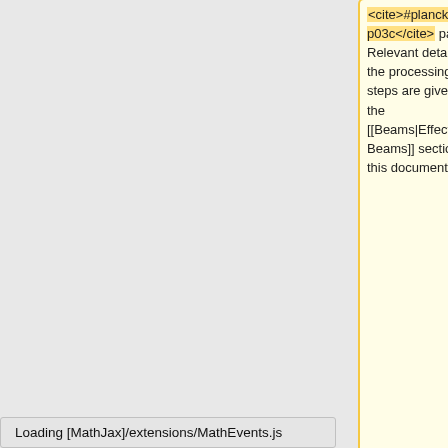<cite>#planck2013-p03c</cite> papers. Relevant details of the processing steps are given in the [[Beams|Effective Beams]] section of this document.
HFI {{PlanckPapers|planck2013-p03c}} papers. Relevant details of the processing steps are given in the [[Beams|Effective Beams]] section of this document.
<!-- Everything from here down to the "Production Process" section should eventually be moved to a new section the Joint Processing pages -->
<!-- Everything from here down to the "Production Process" section should eventually be moved to a new section the Joint Processing pages -->
Loading [MathJax]/extensions/MathEvents.js